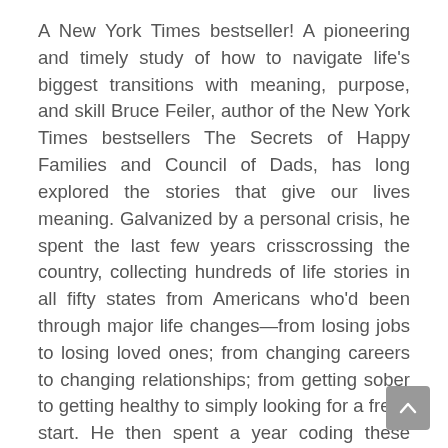A New York Times bestseller! A pioneering and timely study of how to navigate life's biggest transitions with meaning, purpose, and skill Bruce Feiler, author of the New York Times bestsellers The Secrets of Happy Families and Council of Dads, has long explored the stories that give our lives meaning. Galvanized by a personal crisis, he spent the last few years crisscrossing the country, collecting hundreds of life stories in all fifty states from Americans who'd been through major life changes—from losing jobs to losing loved ones; from changing careers to changing relationships; from getting sober to getting healthy to simply looking for a fresh start. He then spent a year coding these stories, identifying patterns and takeaways that can help all of us survive and thrive in times of change. What Feiler discovered was a world in which transitions are becoming more plentiful and mastering the skills to manage them is more urgent for all of us. The idea that we'll have one job, one relationship, one source of